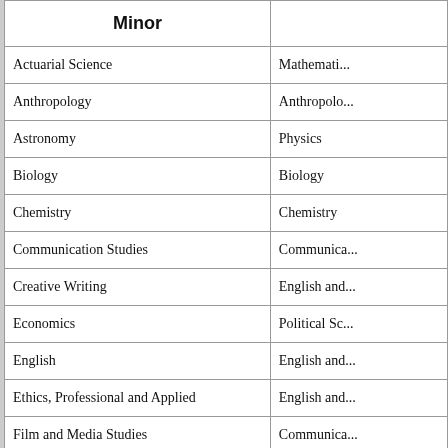| Minor |  |
| --- | --- |
| Actuarial Science | Mathemati... |
| Anthropology | Anthropolo... |
| Astronomy | Physics |
| Biology | Biology |
| Chemistry | Chemistry |
| Communication Studies | Communica... |
| Creative Writing | English and... |
| Economics | Political Sc... |
| English | English and... |
| Ethics, Professional and Applied | English and... |
| Film and Media Studies | Communica... |
| Folklore | English and... |
| French | Internationa... |
| Geology | Physics |
| German | Internationa... |
| History | History |
| Journalism | Communica... |